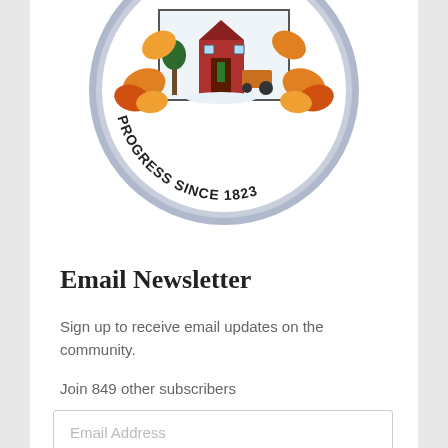[Figure (logo): Bottom portion of a circular municipal seal showing a building/barn scene with fall leaves, text reading 'PROGRESS SINCE 1823' along the bottom arc, with a blue/gray border ring.]
Email Newsletter
Sign up to receive email updates on the community.
Join 849 other subscribers
Email Address